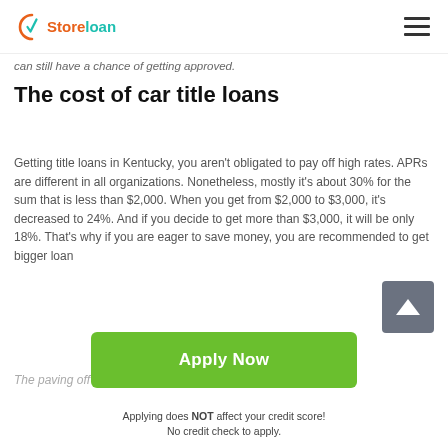Store loan
can still have a chance of getting approved.
The cost of car title loans
Getting title loans in Kentucky, you aren't obligated to pay off high rates. APRs are different in all organizations. Nonetheless, mostly it's about 30% for the sum that is less than $2,000. When you get from $2,000 to $3,000, it's decreased to 24%. And if you decide to get more than $3,000, it will be only 18%. That's why if you are eager to save money, you are recommended to get bigger loans.
The paving off the process for title loans in Kentucky KY
[Figure (other): Green Apply Now button with scroll-to-top arrow button overlay]
Applying does NOT affect your credit score!
No credit check to apply.